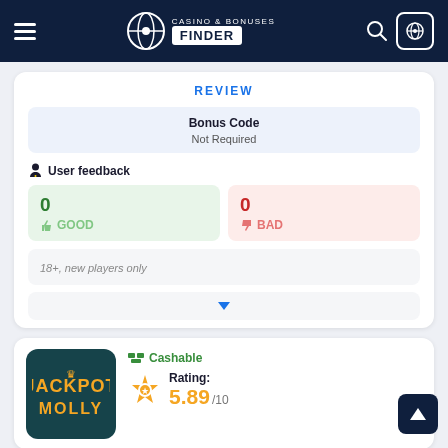Casino & Bonuses Finder
REVIEW
Bonus Code
Not Required
User feedback
0 GOOD
0 BAD
18+, new players only
Cashable
Rating: 5.89/10
Available for players from Botswana